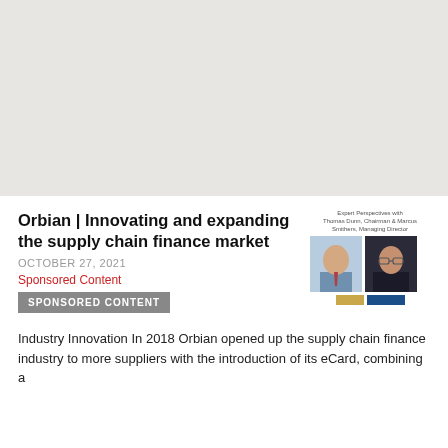[Figure (photo): Light gray placeholder image area at top of page]
Orbian | Innovating and expanding the supply chain finance market
OCTOBER 27, 2021
Sponsored Content
SPONSORED CONTENT
[Figure (photo): Two headshot photos of Orbian executives side by side, with small logo below]
Industry Innovation In 2018 Orbian opened up the supply chain finance industry to more suppliers with the introduction of its eCard, combining a